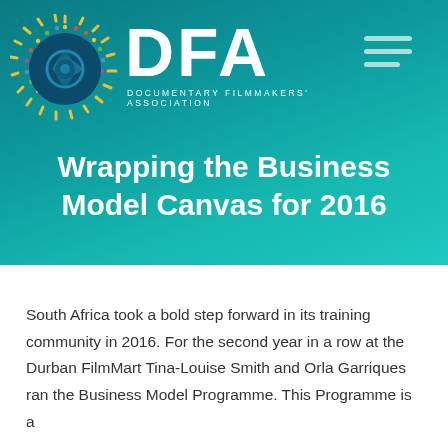[Figure (logo): DFA Documentary Filmmakers' Association logo with decorative circular sun/camera aperture emblem on the left and large white DFA text with subtitle on the right, on a teal gradient background. Also includes a hamburger menu icon top right.]
Wrapping the Business Model Canvas for 2016
South Africa took a bold step forward in its training community in 2016. For the second year in a row at the Durban FilmMart Tina-Louise Smith and Orla Garriques ran the Business Model Programme. This Programme is a